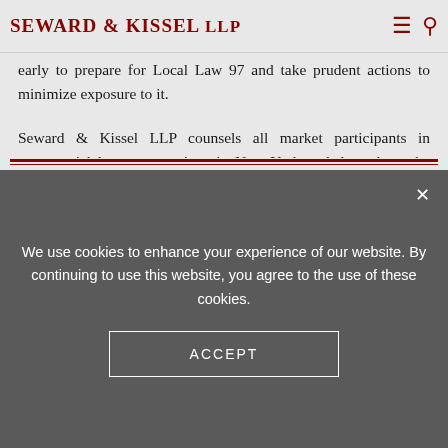Seward & Kissel LLP
early to prepare for Local Law 97 and take prudent actions to minimize exposure to it.
Seward & Kissel LLP counsels all market participants in commercial lease transactions in New York and throughout the United States. Please do not hesitate to reach out to a member of the Seward & Kissel team with any questions regarding Local Law 97.
We use cookies to enhance your experience of our website. By continuing to use this website, you agree to the use of these cookies. ACCEPT